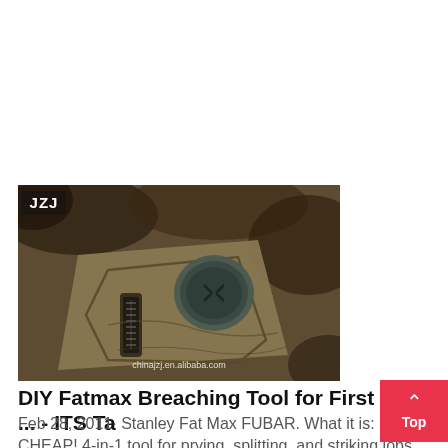[Figure (photo): Close-up photo of a tactical/military-style tool or plate with a button/snap and zipper detail, on dark textured background. Watermark: chinajzj.en.alibaba.com. Logo 'JZJ' in top-left corner of image.]
DIY Fatmax Breaching Tool for First ... - ITS Ta
Feb 28, 2011· Stanley Fat Max FUBAR. What it is: CHEAP! 4-in-1 tool for prying, splitting, and striking jobs.